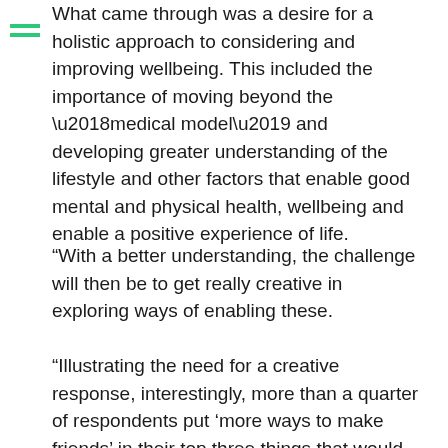What came through was a desire for a holistic approach to considering and improving wellbeing. This included the importance of moving beyond the ‘medical model’ and developing greater understanding of the lifestyle and other factors that enable good mental and physical health, wellbeing and enable a positive experience of life.
“With a better understanding, the challenge will then be to get really creative in exploring ways of enabling these.
“Illustrating the need for a creative response, interestingly, more than a quarter of respondents put ‘more ways to make friends’ in their top three things that would enable Southampton to become a mental health friendly city.